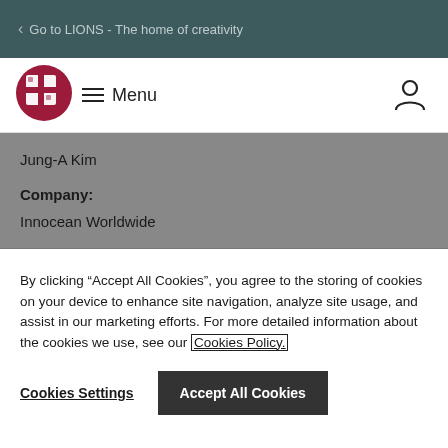Go to LIONS - The home of creativity
[Figure (logo): LIONS logo - red circular emblem with cross/grid pattern]
Menu
Jung-A Kim
Company:
Innocean Worldwide
By clicking “Accept All Cookies”, you agree to the storing of cookies on your device to enhance site navigation, analyze site usage, and assist in our marketing efforts. For more detailed information about the cookies we use, see our Cookies Policy.
Cookies Settings
Accept All Cookies